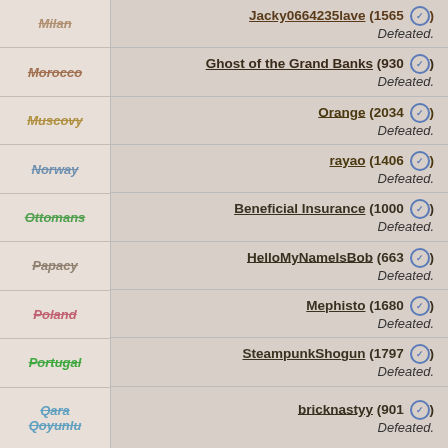Milan — Jacky0664235lave (1565 ✓) Defeated.
Morocco — Ghost of the Grand Banks (930 ✓) Defeated.
Muscovy — Orange (2034 ✓) Defeated.
Norway — rayao (1406 ✓) Defeated.
Ottomans — Beneficial Insurance (1000 ✓) Defeated.
Papacy — HelloMyNameIsBob (663 ✓) Defeated.
Poland — Mephisto (1680 ✓) Defeated.
Portugal — SteampunkShogun (1797 ✓) Defeated.
Qara Qoyunlu — bricknastyy (901 ✓) Defeated.